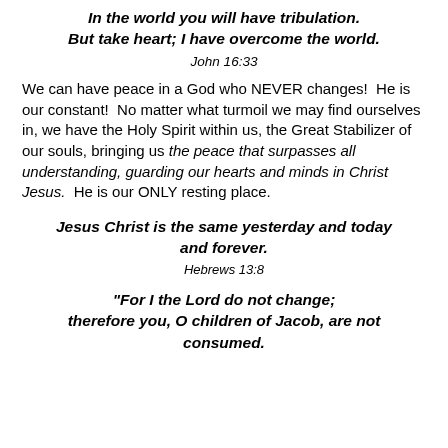In the world you will have tribulation. But take heart; I have overcome the world.
John 16:33
We can have peace in a God who NEVER changes!  He is our constant!  No matter what turmoil we may find ourselves in, we have the Holy Spirit within us, the Great Stabilizer of our souls, bringing us the peace that surpasses all understanding, guarding our hearts and minds in Christ Jesus.  He is our ONLY resting place.
Jesus Christ is the same yesterday and today and forever.
Hebrews 13:8
"For I the Lord do not change; therefore you, O children of Jacob, are not consumed.